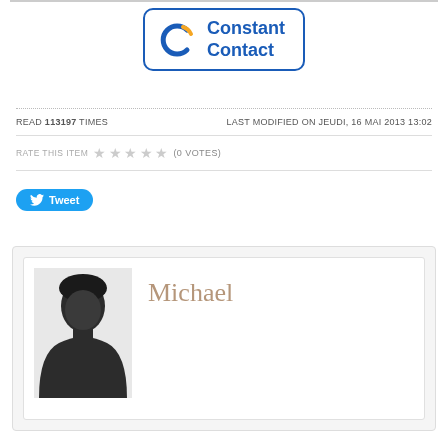[Figure (logo): Constant Contact logo with blue circular icon and orange arc, inside a blue rounded rectangle border]
READ 113197 TIMES   LAST MODIFIED ON JEUDI, 16 MAI 2013 13:02
RATE THIS ITEM ★ ★ ★ ★ ★ (0 VOTES)
[Figure (other): Tweet button with Twitter bird icon]
[Figure (other): Profile card showing a generic male silhouette avatar and the name Michael]